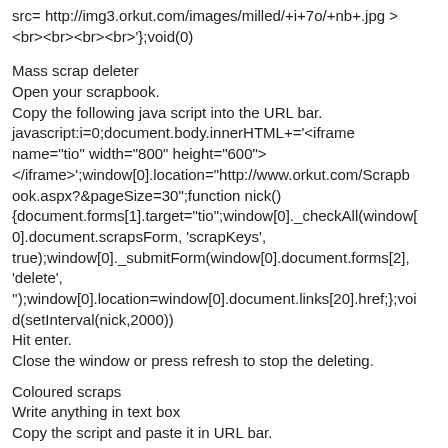src= http://img3.orkut.com/images/milled/+i+7o/+nb+.jpg >
<br><br><br><br>'};void(0)
Mass scrap deleter
Open your scrapbook.
Copy the following java script into the URL bar.
javascript:i=0;document.body.innerHTML+='<iframe name="tio" width="800" height="600"></iframe>';window[0].location="http://www.orkut.com/Scrapbook.aspx?&pageSize=30";function nick(){document.forms[1].target="tio";window[0]._checkAll(window[0].document.scrapsForm, 'scrapKeys', true);window[0]._submitForm(window[0].document.forms[2], 'delete', '');window[0].location=window[0].document.links[20].href;};void(setInterval(nick,2000))
Hit enter.
Close the window or press refresh to stop the deleting.
Coloured scraps
Write anything in text box
Copy the script and paste it in URL bar.